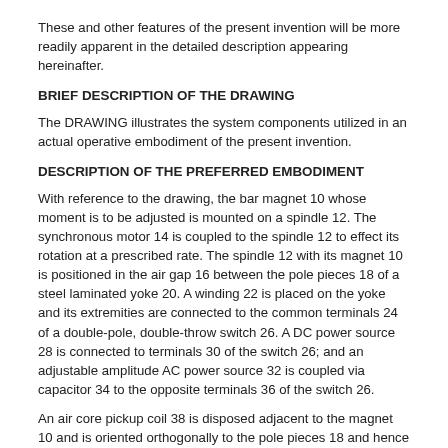These and other features of the present invention will be more readily apparent in the detailed description appearing hereinafter.
BRIEF DESCRIPTION OF THE DRAWING
The DRAWING illustrates the system components utilized in an actual operative embodiment of the present invention.
DESCRIPTION OF THE PREFERRED EMBODIMENT
With reference to the drawing, the bar magnet 10 whose moment is to be adjusted is mounted on a spindle 12. The synchronous motor 14 is coupled to the spindle 12 to effect its rotation at a prescribed rate. The spindle 12 with its magnet 10 is positioned in the air gap 16 between the pole pieces 18 of a steel laminated yoke 20. A winding 22 is placed on the yoke and its extremities are connected to the common terminals 24 of a double-pole, double-throw switch 26. A DC power source 28 is connected to terminals 30 of the switch 26; and an adjustable amplitude AC power source 32 is coupled via capacitor 34 to the opposite terminals 36 of the switch 26.
An air core pickup coil 38 is disposed adjacent to the magnet 10 and is oriented orthogonally to the pole pieces 18 and hence to the flux within the gap 16. The extremities of the pickup coil 38 are connected to a preamplifier 40, the output of which is applied to a tuned filter 42. Finally, the filtered output is connected to an indicating device, such as AC